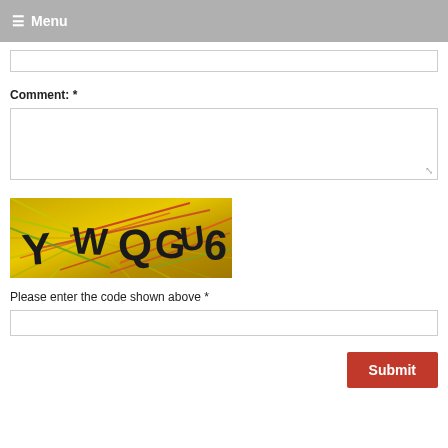≡ Menu
Comment: *
[Figure (other): CAPTCHA image showing letters Y W Q G U 6 on a gold/yellow background with colorful diagonal lines]
Please enter the code shown above *
Submit